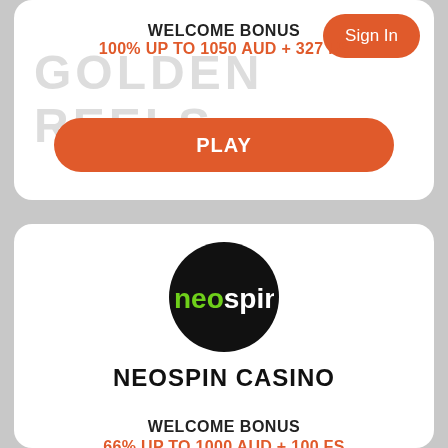[Figure (screenshot): Top casino card showing Golden Reels watermark text, WELCOME BONUS label, 100% UP TO 1050 AUD + 327 FS offer, Sign In button, and PLAY button]
WELCOME BONUS
100% UP TO 1050 AUD + 327 FS
PLAY
[Figure (logo): Neospin casino logo: black circle with neo in green and spin in white text]
NEOSPIN CASINO
WELCOME BONUS
66% UP TO 1000 AUD + 100 FS